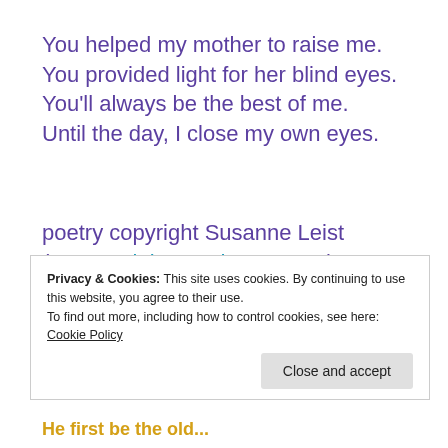You helped my mother to raise me.
You provided light for her blind eyes.
You'll always be the best of me.
Until the day, I close my own eyes.
poetry copyright Susanne Leist (susanneleist.wordpress.com)
Privacy & Cookies: This site uses cookies. By continuing to use this website, you agree to their use.
To find out more, including how to control cookies, see here: Cookie Policy
Close and accept
He first be the old...